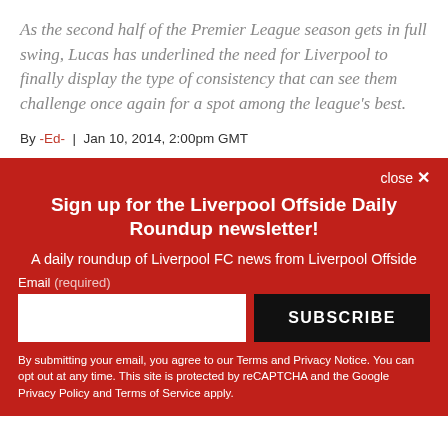As the second half of the Premier League season gets in full swing, Lucas has underlined the need for Liverpool to finally display the type of consistency that can see them challenge once again for a spot among the league's best.
By -Ed- | Jan 10, 2014, 2:00pm GMT
close ×
Sign up for the Liverpool Offside Daily Roundup newsletter!
A daily roundup of Liverpool FC news from Liverpool Offside
Email (required)
SUBSCRIBE
By submitting your email, you agree to our Terms and Privacy Notice. You can opt out at any time. This site is protected by reCAPTCHA and the Google Privacy Policy and Terms of Service apply.